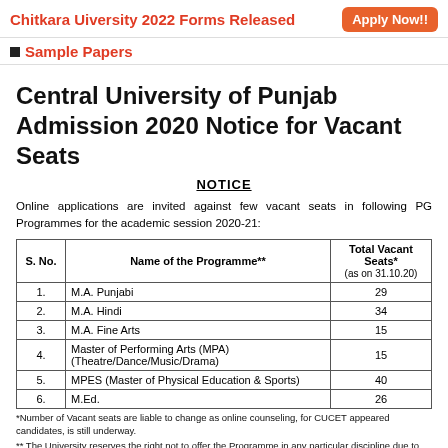Chitkara Uiversity 2022 Forms Released   Apply Now!!
Sample Papers
Central University of Punjab Admission 2020 Notice for Vacant Seats
NOTICE
Online applications are invited against few vacant seats in following PG Programmes for the academic session 2020-21:
| S. No. | Name of the Programme** | Total Vacant Seats* (as on 31.10.20) |
| --- | --- | --- |
| 1. | M.A. Punjabi | 29 |
| 2. | M.A. Hindi | 34 |
| 3. | M.A. Fine Arts | 15 |
| 4. | Master of Performing Arts (MPA) (Theatre/Dance/Music/Drama) | 15 |
| 5. | MPES (Master of Physical Education & Sports) | 40 |
| 6. | M.Ed. | 26 |
*Number of Vacant seats are liable to change as online counseling, for CUCET appeared candidates, is still underway.
** The University reserves the right not to offer the Programme in any particular discipline due to administrative